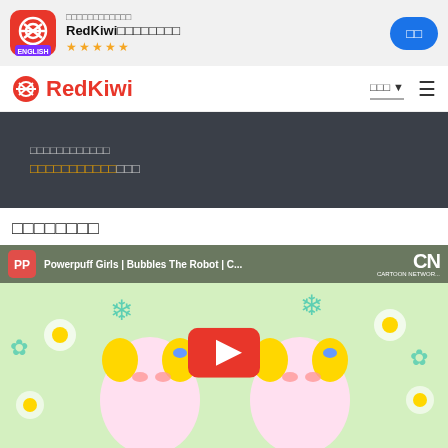[Figure (screenshot): RedKiwi app banner with app icon, title, stars rating and install button]
[Figure (logo): RedKiwi navigation bar with logo, language selector, and hamburger menu]
□□□□□□□□□□□□
□□□□□□□□□□□□□
□□□□□□□□
[Figure (screenshot): Powerpuff Girls | Bubbles The Robot | Cartoon Network YouTube video thumbnail with play button]